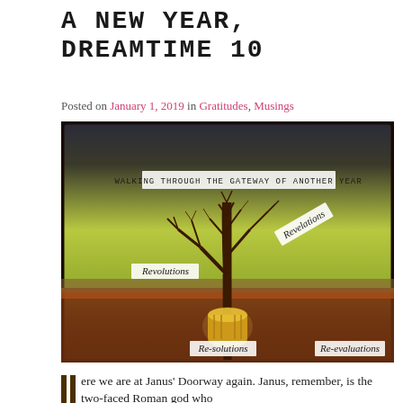A NEW YEAR, DREAMTIME 10
Posted on January 1, 2019 in Gratitudes, Musings
[Figure (illustration): Artistic photo collage of a bare winter tree against a yellow-green and ochre background. Text labels are overlaid: 'WALKING THROUGH THE GATEWAY OF ANOTHER YEAR' at the top, 'Revelations' on the upper right, 'Revolutions' on the left middle, 'Re-solutions' at the lower center, and 'Re-evaluations' at the lower right. At the base of the tree is a glowing golden barrel or drum shape.]
ere we are at Janus' Doorway again. Janus, remember, is the two-faced Roman god who